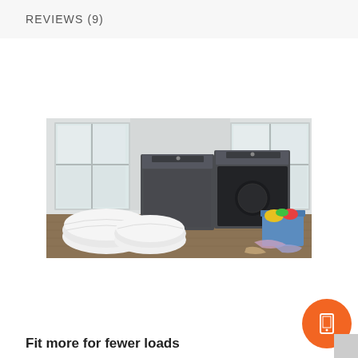REVIEWS (9)
[Figure (photo): Samsung washer and dryer pair in dark graphite color, displayed in a laundry room with white rolled towels on the left and a laundry basket with clothes on the right. Windows visible in background.]
Fit more for fewer loads